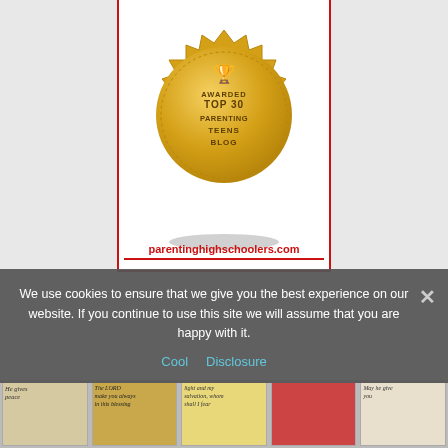[Figure (logo): Gold award badge seal reading 'AWARDED TOP 30 PARENTING TEENS BLOG' with a trophy icon at the top, displayed on a white card background with red left and right borders, above the URL parentinghighschoolers.com in red text]
We use cookies to ensure that we give you the best experience on our website. If you continue to use this site we will assume that you are happy with it.
Cool   Disclosure
[Figure (photo): Strip of scripture/blessing cards visible at the bottom of the page, partially obscured by the cookie consent banner]